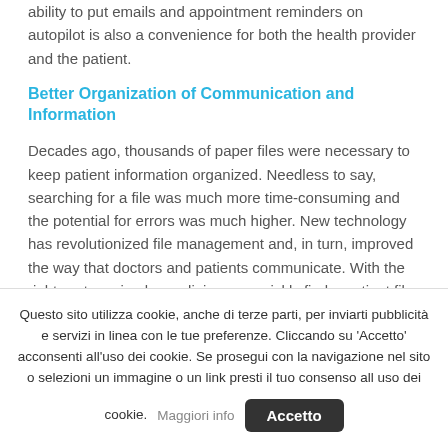ability to put emails and appointment reminders on autopilot is also a convenience for both the health provider and the patient.
Better Organization of Communication and Information
Decades ago, thousands of paper files were necessary to keep patient information organized. Needless to say, searching for a file was much more time-consuming and the potential for errors was much higher. New technology has revolutionized file management and, in turn, improved the way that doctors and patients communicate. With the right systems in place, clinics can quickly find a patient file, review their records, answer questions, supply health providers with important information and even see when a patient was communicated with last. Specialized patient relationship management solutions can also integrate
Questo sito utilizza cookie, anche di terze parti, per inviarti pubblicità e servizi in linea con le tue preferenze. Cliccando su 'Accetto' acconsenti all'uso dei cookie. Se prosegui con la navigazione nel sito o selezioni un immagine o un link presti il tuo consenso all uso dei cookie. Maggiori info  Accetto